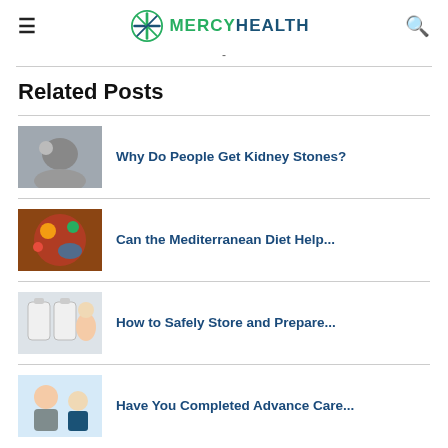MERCYHEALTH
Related Posts
Why Do People Get Kidney Stones?
Can the Mediterranean Diet Help...
How to Safely Store and Prepare...
Have You Completed Advance Care...